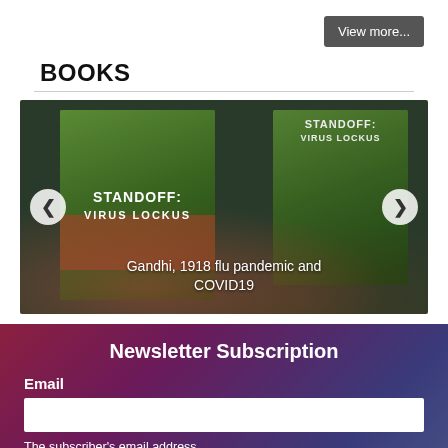View more...
BOOKS
[Figure (photo): Book carousel showing 'STANDOFF: VIRUS LOCKUS' book covers with navigation arrows and caption 'Gandhi, 1918 flu pandemic and COVID19']
Gandhi, 1918 flu pandemic and COVID19
Newsletter Subscription
Email
The subscriber's email address.
Stay informed - subscribe to our newsletter.
Subscribe